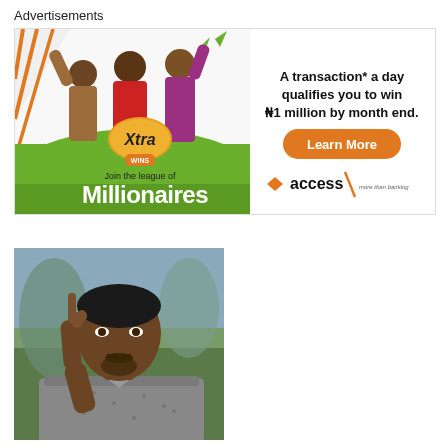Advertisements
[Figure (photo): Access Bank XtraWins advertisement banner. Left side shows three excited young people with a green background, Xtra Wins logo, and text 'Join the league of Millionaires'. Right side shows text 'A transaction* a day qualifies you to win ₦1 million by month end.' with an orange 'Learn More' button and the Access bank logo with tagline 'more than banking'.]
[Figure (photo): Portrait photo of a middle-aged African man in a patterned grey shirt, pointing upward with his index finger, smiling slightly. Background is blurred outdoor scene.]